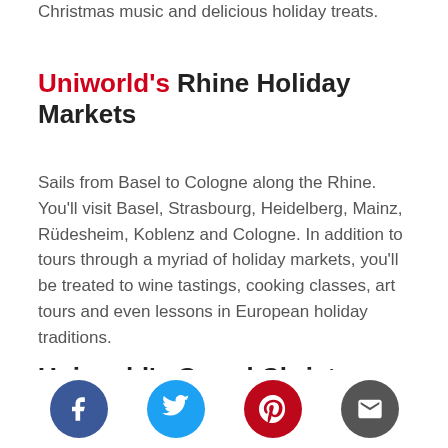Christmas music and delicious holiday treats.
Uniworld's Rhine Holiday Markets
Sails from Basel to Cologne along the Rhine. You'll visit Basel, Strasbourg, Heidelberg, Mainz, Rüdesheim, Koblenz and Cologne. In addition to tours through a myriad of holiday markets, you'll be treated to wine tastings, cooking classes, art tours and even lessons in European holiday traditions.
Uniworld's Grand Christmas and New
[Figure (other): Social media share icons: Facebook, Twitter, Pinterest, Email]